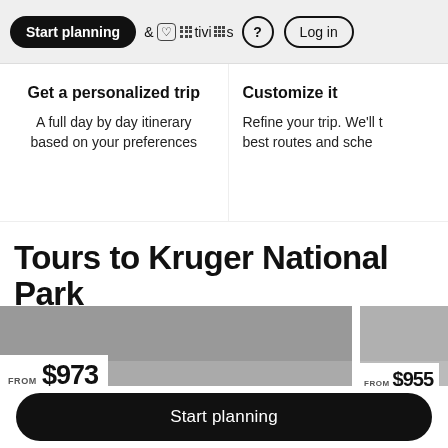Start planning  & Activities  ?  Log in
Get a personalized trip
A full day by day itinerary based on your preferences
Customize it
Refine your trip. We'll best routes and sche...
Tours to Kruger National Park
[Figure (screenshot): Tour card image placeholder (gray)]
FROM $973
[Figure (screenshot): Second tour card image placeholder (gray)]
FROM $955
Start planning